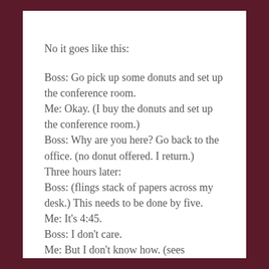No it goes like this:

Boss: Go pick up some donuts and set up the conference room.
Me: Okay. (I buy the donuts and set up the conference room.)
Boss: Why are you here? Go back to the office. (no donut offered. I return.)
Three hours later:
Boss: (flings stack of papers across my desk.) This needs to be done by five.
Me: It's 4:45.
Boss: I don't care.
Me: But I don't know how. (sees